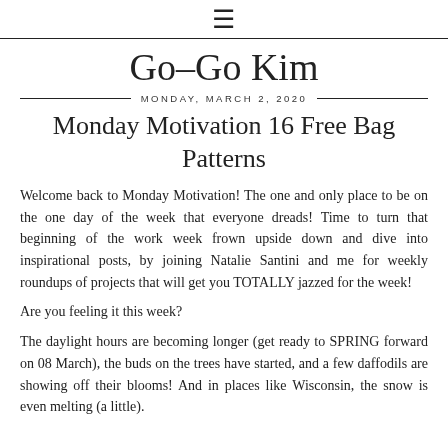≡
Go–Go Kim
MONDAY, MARCH 2, 2020
Monday Motivation 16 Free Bag Patterns
Welcome back to Monday Motivation! The one and only place to be on the one day of the week that everyone dreads! Time to turn that beginning of the work week frown upside down and dive into inspirational posts, by joining Natalie Santini and me for weekly roundups of projects that will get you TOTALLY jazzed for the week!
Are you feeling it this week?
The daylight hours are becoming longer (get ready to SPRING forward on 08 March), the buds on the trees have started, and a few daffodils are showing off their blooms! And in places like Wisconsin, the snow is even melting (a little).